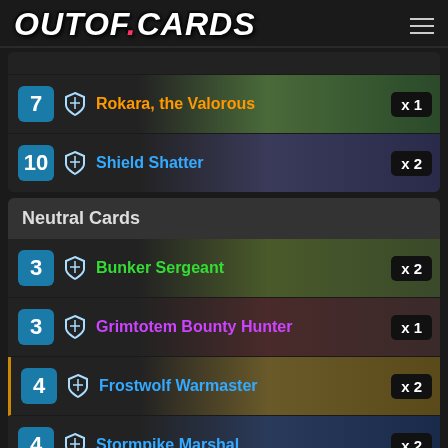OUTOF.CARDS
7 Rokara, the Valorous x 1
10 Shield Shatter x 2
Neutral Cards
3 Bunker Sergeant x 2
3 Grimtotem Bounty Hunter x 1
4 Frostwolf Warmaster x 2
4 Stormpike Marshal x 2
5 Blood Guard x 1
5 Knight-Captain x 1